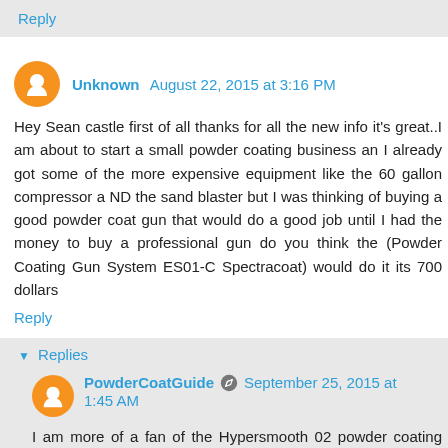Reply
Unknown  August 22, 2015 at 3:16 PM
Hey Sean castle first of all thanks for all the new info it's great..I am about to start a small powder coating business an I already got some of the more expensive equipment like the 60 gallon compressor a ND the sand blaster but I was thinking of buying a good powder coat gun that would do a good job until I had the money to buy a professional gun do you think the (Powder Coating Gun System ES01-C Spectracoat) would do it its 700 dollars
Reply
Replies
PowderCoatGuide  September 25, 2015 at 1:45 AM
I am more of a fan of the Hypersmooth 02 powder coating gun. It often gets much better